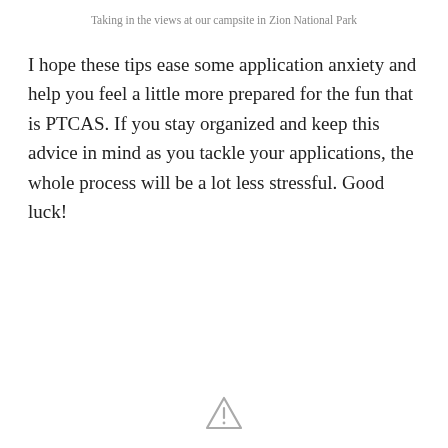Taking in the views at our campsite in Zion National Park
I hope these tips ease some application anxiety and help you feel a little more prepared for the fun that is PTCAS. If you stay organized and keep this advice in mind as you tackle your applications, the whole process will be a lot less stressful. Good luck!
[Figure (illustration): Small warning/caution triangle icon at the bottom center of the page]